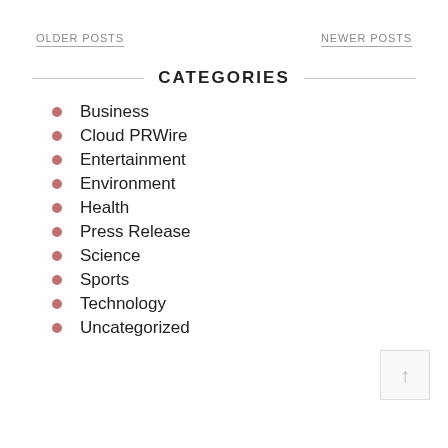OLDER POSTS
NEWER POSTS
CATEGORIES
Business
Cloud PRWire
Entertainment
Environment
Health
Press Release
Science
Sports
Technology
Uncategorized